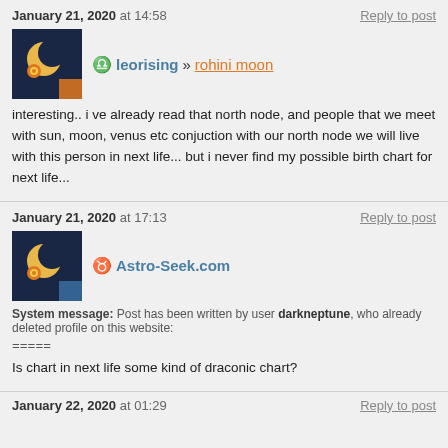January 21, 2020 at 14:58    Reply to post
[Figure (illustration): User avatar: dark navy background with crescent moon and spiral orange sun symbol]
leorising » rohini moon
interesting.. i ve already read that north node, and people that we meet with sun, moon, venus etc conjuction with our north node we will live with this person in next life... but i never find my possible birth chart for next life...
January 21, 2020 at 17:13    Reply to post
[Figure (illustration): User avatar: dark navy background with crescent moon and spiral orange sun symbol]
Astro-Seek.com
System message: Post has been written by user darkneptune, who already deleted profile on this website:
=====
Is chart in next life some kind of draconic chart?
January 22, 2020 at 01:29    Reply to post